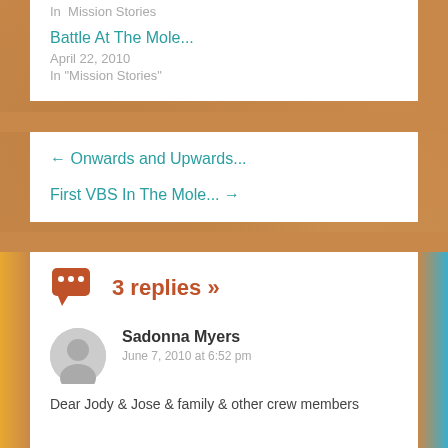In  Mission Stories
Battle At The Mole...
April 22, 2010
In "Mission Stories"
← Onwards and Upwards...
First VBS In The Mole... →
3 replies »
Sadonna Myers
June 7, 2010 at 6:52 pm
Dear Jody & Jose & family & other crew members